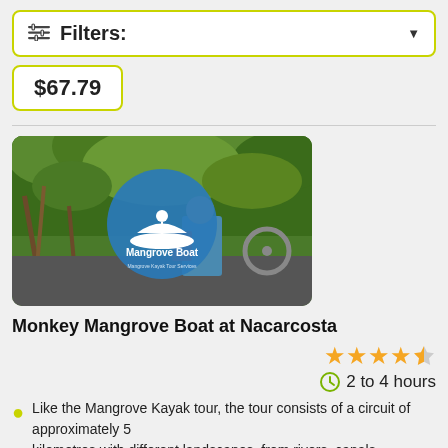Filters:
$67.79
[Figure (photo): Photo of people on a boat tour in a mangrove forest with a round blue logo overlay reading 'Mangrove Boat']
Monkey Mangrove Boat at Nacarcosta
★★★★½ rating
2 to 4 hours
Like the Mangrove Kayak tour, the tour consists of a circuit of approximately 5
kilometres with different landscapes, from rivers, canals